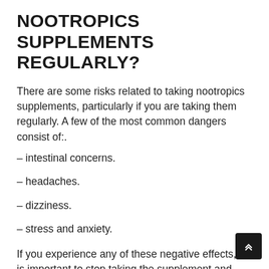NOOTROPICS SUPPLEMENTS REGULARLY?
There are some risks related to taking nootropics supplements, particularly if you are taking them regularly. A few of the most common dangers consist of:.
– intestinal concerns.
– headaches.
– dizziness.
– stress and anxiety.
If you experience any of these negative effects, it is important to stop taking the supplement and speak with a healthcare specialist. Furthermore, it is necessary to be mindful that some nootropics can